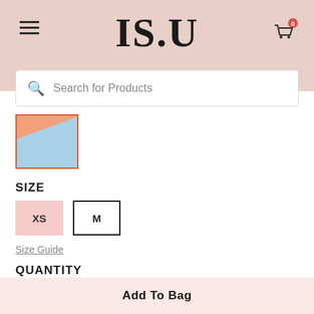IS.U — Navigation header with hamburger menu, logo, cart icon with badge 0
Search for Products
[Figure (photo): Thumbnail product image showing orange top and light blue jeans]
SIZE
XS  M
Size Guide
QUANTITY
— 1 +
Add To Bag